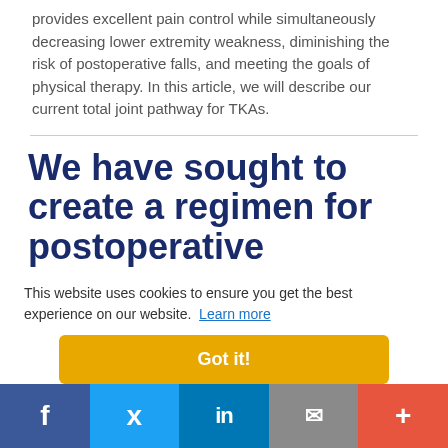provides excellent pain control while simultaneously decreasing lower extremity weakness, diminishing the risk of postoperative falls, and meeting the goals of physical therapy. In this article, we will describe our current total joint pathway for TKAs.
We have sought to create a regimen for postoperative analgesia
This website uses cookies to ensure you get the best experience on our website. Learn more
Got it!